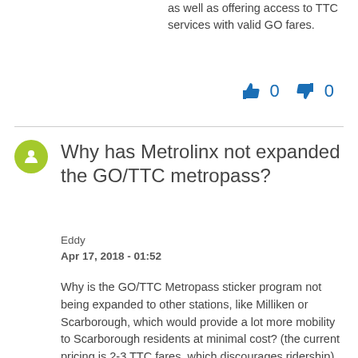as well as offering access to TTC services with valid GO fares.
👍 0  👎 0
Why has Metrolinx not expanded the GO/TTC metropass?
Eddy
Apr 17, 2018 - 01:52
Why is the GO/TTC Metropass sticker program not being expanded to other stations, like Milliken or Scarborough, which would provide a lot more mobility to Scarborough residents at minimal cost? (the current pricing is 2-3 TTC fares, which discourages ridership)